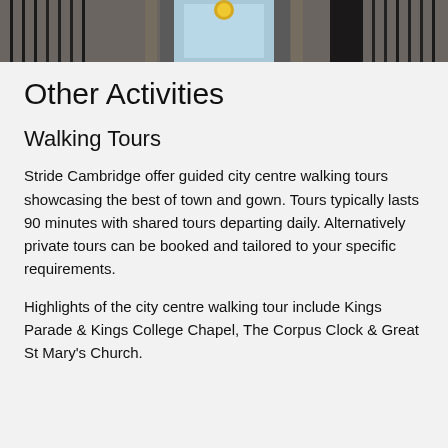[Figure (photo): A photo banner showing a building exterior with iron gates and architectural details, a blue/teal door or window in the center, and a golden circular element above it.]
Other Activities
Walking Tours
Stride Cambridge offer guided city centre walking tours showcasing the best of town and gown. Tours typically lasts 90 minutes with shared tours departing daily. Alternatively private tours can be booked and tailored to your specific requirements.
Highlights of the city centre walking tour include Kings Parade & Kings College Chapel, The Corpus Clock & Great St Mary's Church.